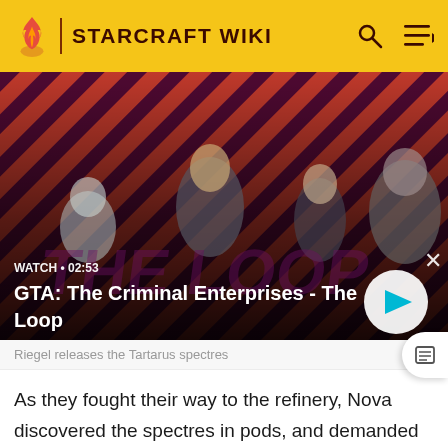STARCRAFT WIKI
[Figure (screenshot): Video thumbnail showing GTA: The Criminal Enterprises - The Loop with four characters on a striped red and dark background. Shows WATCH • 02:53 label and a play button.]
Riegel releases the Tartarus spectres
As they fought their way to the refinery, Nova discovered the spectres in pods, and demanded they be destroyed to prevent them from being released on the sector.
However, her assistant Riegel disagreed, and directly